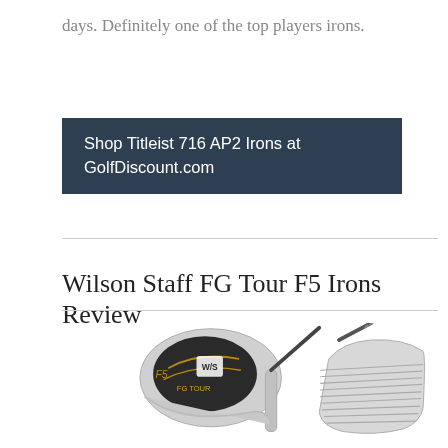days. Definitely one of the top players irons.
Shop Titleist 716 AP2 Irons at GolfDiscount.com
Wilson Staff FG Tour F5 Irons Review
[Figure (photo): Two views of the Wilson Staff FG Tour F5 iron: a front-face view showing the club head with FG Tour branding and W/S logo, and a side view showing the grooved club face.]